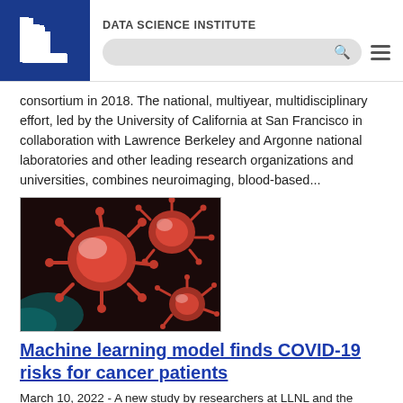DATA SCIENCE INSTITUTE
consortium in 2018. The national, multiyear, multidisciplinary effort, led by the University of California at San Francisco in collaboration with Lawrence Berkeley and Argonne national laboratories and other leading research organizations and universities, combines neuroimaging, blood-based...
[Figure (photo): Microscopic image of COVID-19 / coronavirus particles, red spiky spherical viral particles on dark blurred background]
Machine learning model finds COVID-19 risks for cancer patients
March 10, 2022 - A new study by researchers at LLNL and the University of California, San Francisco, looks to identify cancer-related risks for poor outcomes from COVID-19.